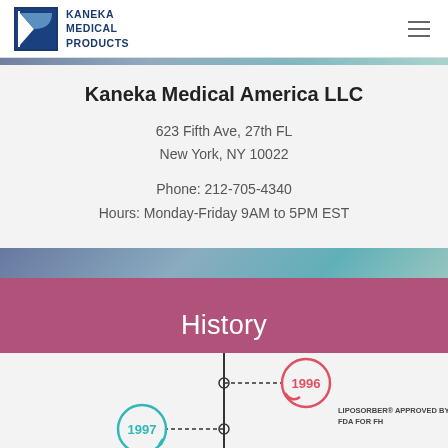KANEKA MEDICAL PRODUCTS
Kaneka Medical America LLC
623 Fifth Ave, 27th FL
New York, NY 10022
Phone: 212-705-4340
Hours: Monday-Friday 9AM to 5PM EST
History
[Figure (infographic): Timeline showing 1996: LIPOSORBER® APPROVED BY FDA FOR FH, and 1997: KANEKA PHARMA AMERICA FOUNDED]